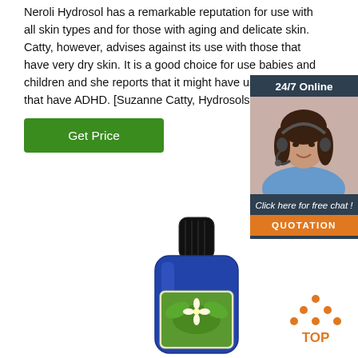Neroli Hydrosol has a remarkable reputation for use with all skin types and for those with aging and delicate skin. Catty, however, advises against its use with those that have very dry skin. It is a good choice for use babies and children and she reports that it might have use with those that have ADHD. [Suzanne Catty, Hydrosols: The Next ...
[Figure (other): Green 'Get Price' button]
[Figure (other): 24/7 Online chat widget with woman wearing headset, 'Click here for free chat!' text, and orange QUOTATION button]
[Figure (photo): Blue bottle of neroli hydrosol with flower label]
[Figure (other): TOP navigation icon with orange dots and text]